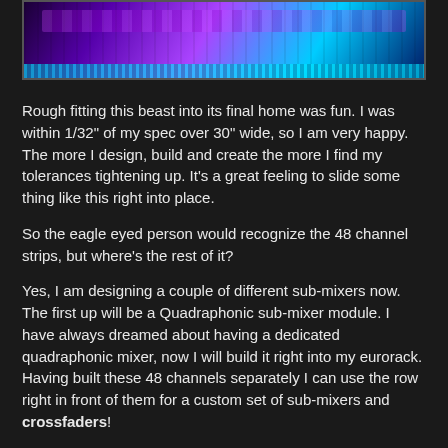[Figure (photo): Neon-lit synthesizer keyboards and eurorack modules with purple and cyan lighting]
Rough fitting this beast into its final home was fun. I was within 1/32" of my spec over 30" wide, so I am very happy. The more I design, build and create the more I find my tolerances tightening up. It’s a great feeling to slide some thing like this right into place.
So the eagle eyed person would recognize the 48 channel strips, but where’s the rest of it?
Yes, I am designing a couple of different sub-mixers now. The first up will be a Quadraphonic sub-mixer module. I have always dreamed about having a dedicated quadraphonic mixer, now I will build it right into my eurorack. Having built these 48 channels separately I can use the row right in front of them for a custom set of sub-mixers and crossfaders!
Lots more work, but now it really is getting fun as I have